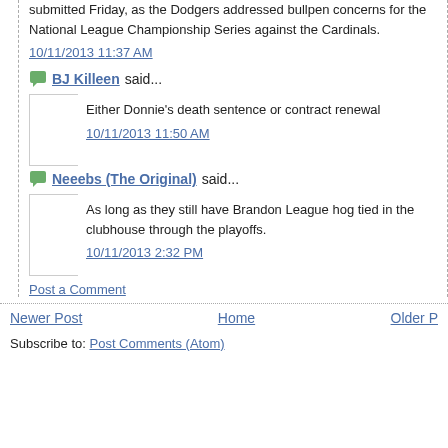submitted Friday, as the Dodgers addressed bullpen concerns for the National League Championship Series against the Cardinals.
10/11/2013 11:37 AM
BJ Killeen said...
Either Donnie's death sentence or contract renewal
10/11/2013 11:50 AM
Neeebs (The Original) said...
As long as they still have Brandon League hog tied in the clubhouse through the playoffs.
10/11/2013 2:32 PM
Post a Comment
Newer Post   Home   Older P
Subscribe to: Post Comments (Atom)